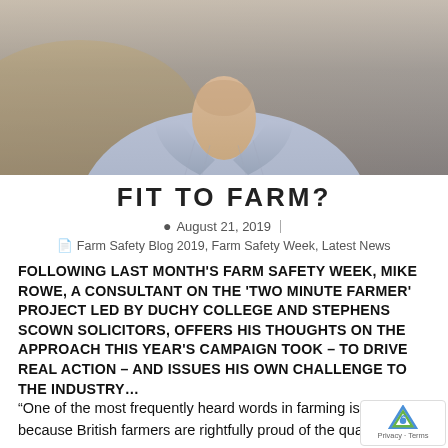[Figure (photo): Partial photo of a man in a light blue/grey button-up shirt, showing neck and torso area, with blurred warm background]
FIT TO FARM?
August 21, 2019
Farm Safety Blog 2019, Farm Safety Week, Latest News
FOLLOWING LAST MONTH'S FARM SAFETY WEEK, MIKE ROWE, A CONSULTANT ON THE 'TWO MINUTE FARMER' PROJECT LED BY DUCHY COLLEGE AND STEPHENS SCOWN SOLICITORS, OFFERS HIS THOUGHTS ON THE APPROACH THIS YEAR'S CAMPAIGN TOOK – TO DRIVE REAL ACTION – AND ISSUES HIS OWN CHALLENGE TO THE INDUSTRY…
“One of the most frequently heard words in farming is ‘pride’, because British farmers are rightfully proud of the quality